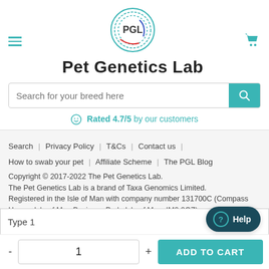[Figure (logo): PGL Pet Genetics Lab logo — circular concentric rings in teal, red and blue with PGL text in center, and 'Pet Genetics Lab' text below]
Search for your breed here
☺ Rated 4.7/5 by our customers
Search | Privacy Policy | T&Cs | Contact us | How to swab your pet | Affiliate Scheme | The PGL Blog
Copyright © 2017-2022 The Pet Genetics Lab.
The Pet Genetics Lab is a brand of Taxa Genomics Limited. Registered in the Isle of Man with company number 131700C (Compass House, Isle of Man Business Park, Isle of Man, IM2 2QZ).
Type 1
1
ADD TO CART
? Help